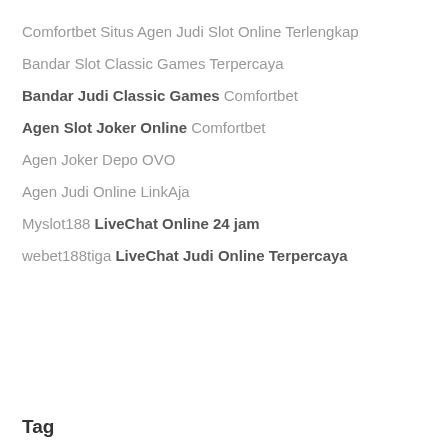Comfortbet Situs Agen Judi Slot Online Terlengkap
Bandar Slot Classic Games Terpercaya
Bandar Judi Classic Games Comfortbet
Agen Slot Joker Online Comfortbet
Agen Joker Depo OVO
Agen Judi Online LinkAja
Myslot188 LiveChat Online 24 jam
webet188tiga LiveChat Judi Online Terpercaya
Tag